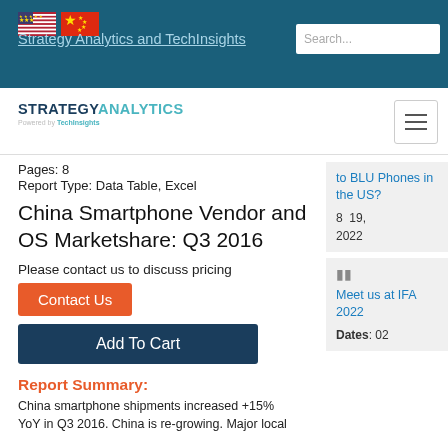Strategy Analytics and TechInsights
[Figure (logo): Strategy Analytics powered by TechInsights logo with hamburger menu icon]
Pages: 8
Report Type: Data Table, Excel
China Smartphone Vendor and OS Marketshare: Q3 2016
Please contact us to discuss pricing
Contact Us
Add To Cart
Report Summary:
China smartphone shipments increased +15% YoY in Q3 2016. China is re-growing. Major local
to BLU Phones in the US?
8  19, 2022
Meet us at IFA 2022
Dates: 02